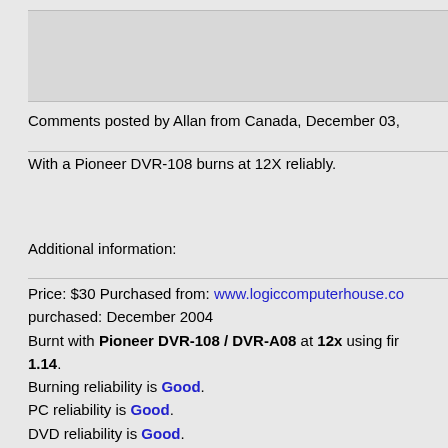Comments posted by Allan from Canada, December 03,
With a Pioneer DVR-108 burns at 12X reliably.
Additional information:
Price: $30 Purchased from: www.logiccomputerhouse.co purchased: December 2004
Burnt with Pioneer DVR-108 / DVR-A08 at 12x using firmware 1.14.
Burning reliability is Good.
PC reliability is Good.
DVD reliability is Good.
Media color is Purple.
Media text is 0000 : 01 40 c1 fd 9e d8 52 00 02 86 0e 11
00 .@....R......... 0010 : 03 52 49 54 45 4b 47 00 04 30 35 00